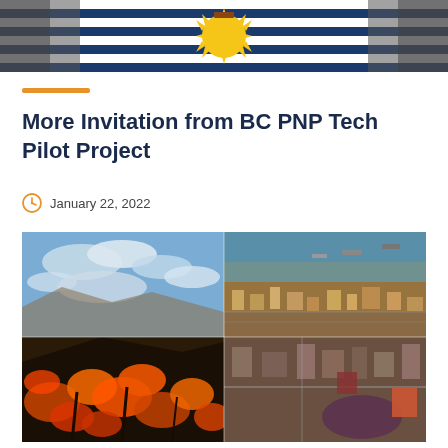[Figure (photo): British Columbia flag showing blue and white stripes with golden sun in the centre, partially visible at top of page]
More Invitation from BC PNP Tech Pilot Project
January 22, 2022
[Figure (photo): Collage of four images: top-left shows sky with clouds, bottom-left shows orange/red autumn forest on mountain slopes, top-right shows aerial view of a coastal town with water and ships, bottom-right shows aerial view of an urban/industrial area]